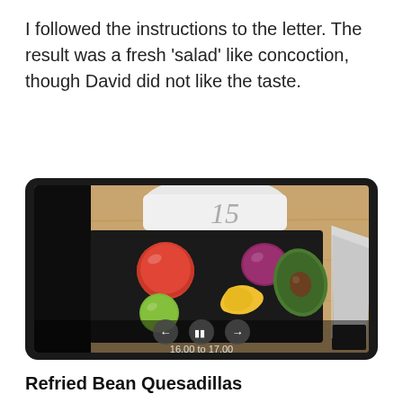I followed the instructions to the letter. The result was a fresh 'salad' like concoction, though David did not like the taste.
[Figure (photo): A tablet device displaying a video of salad ingredients on a black chopping board: a tomato, lime, red onion, yellow chili pepper, avocado, and a knife. Video controls (back, pause, forward) are visible at the bottom, with a timestamp showing '16.00 to 17.00'.]
Refried Bean Quesadillas